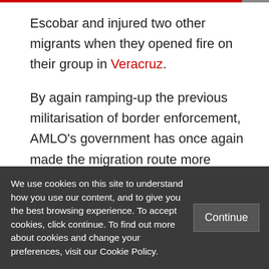Escobar and injured two other migrants when they opened fire on their group in Veracruz.
By again ramping-up the previous militarisation of border enforcement, AMLO's government has once again made the migration route more difficult, expensive, and dangerous for migrants. The presence of security forces in the southern states has
We use cookies on this site to understand how you use our content, and to give you the best browsing experience. To accept cookies, click continue. To find out more about cookies and change your preferences, visit our Cookie Policy.